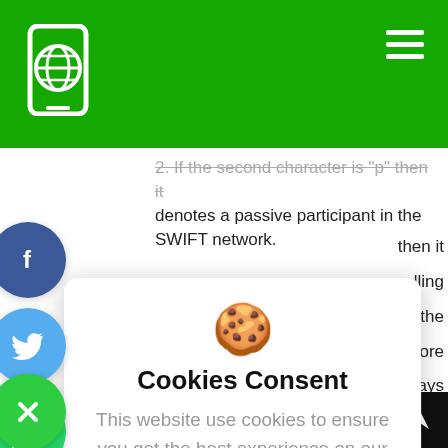2. If the second character is 'p' then it denotes a passive participant in the SWIFT network.
then it lling for the more er pays nique oc branch.
[Figure (screenshot): Cookie consent modal dialog with cookie emoji, title 'Cookies Consent', message 'This website use cookies to ensure you get the best experience on our website.', and buttons 'I understand' and 'Privacy Policy'. Social sharing buttons (Facebook, Twitter, WhatsApp, close) on the left side. Green header bar with globe/phone logo and hamburger menu at top.]